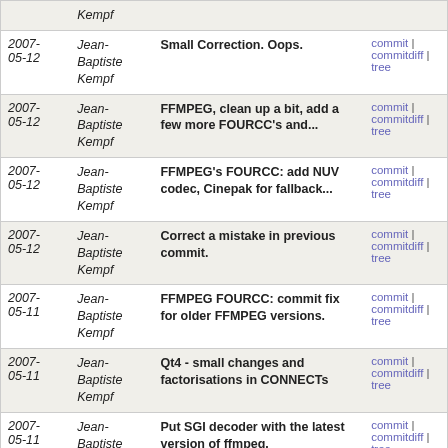| Date | Author | Commit message | Links |
| --- | --- | --- | --- |
|  | Kempf |  |  |
| 2007-05-12 | Jean-Baptiste Kempf | Small Correction. Oops. | commit | commitdiff | tree |
| 2007-05-12 | Jean-Baptiste Kempf | FFMPEG, clean up a bit, add a few more FOURCC's and... | commit | commitdiff | tree |
| 2007-05-12 | Jean-Baptiste Kempf | FFMPEG's FOURCC: add NUV codec, Cinepak for fallback... | commit | commitdiff | tree |
| 2007-05-12 | Jean-Baptiste Kempf | Correct a mistake in previous commit. | commit | commitdiff | tree |
| 2007-05-11 | Jean-Baptiste Kempf | FFMPEG FOURCC: commit fix for older FFMPEG versions. | commit | commitdiff | tree |
| 2007-05-11 | Jean-Baptiste Kempf | Qt4 - small changes and factorisations in CONNECTs | commit | commitdiff | tree |
| 2007-05-11 | Jean-Baptiste Kempf | Put SGI decoder with the latest version of ffmpeg. | commit | commitdiff | tree |
| 2007-05-11 | Jean-Baptiste Kempf | Add some NEWS. | commit | commitdiff | tree |
| 2007-05-11 | Jean-Baptiste Kempf | Codecs FFMPEG. Add support for DosBox Capture, Worms... | commit | commitdiff | tree |